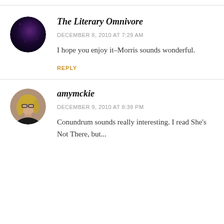[Figure (photo): Circular avatar showing a dark galaxy/nebula image with purple and dark tones]
The Literary Omnivore
DECEMBER 8, 2010 AT 7:29 AM
I hope you enjoy it–Morris sounds wonderful.
REPLY
[Figure (photo): Circular avatar showing a woman with glasses and blonde hair wearing dark clothing]
amymckie
DECEMBER 9, 2010 AT 8:39 PM
Conundrum sounds really interesting. I read She's Not There, but...